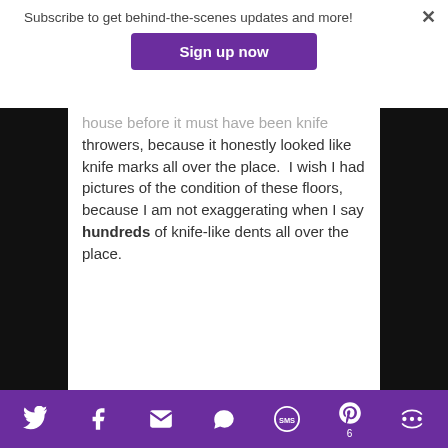Subscribe to get behind-the-scenes updates and more!
Sign up now
house before it must have been knife throwers, because it honestly looked like knife marks all over the place. I wish I had pictures of the condition of these floors, because I am not exaggerating when I say hundreds of knife-like dents all over the place.
Social share icons: Twitter, Facebook, Email, WhatsApp, SMS, Pinterest (6), More